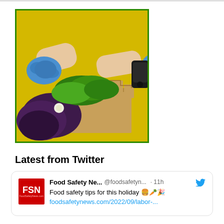[Figure (photo): A person wearing blue gloves and a yellow apron sorting fresh leafy greens and herbs from a cardboard produce box. Various green herbs and dark purple/red lettuce visible in the box.]
Latest from Twitter
Food Safety Ne... @foodsafetyn... · 11h  Food safety tips for this holiday 🍔🥕🎉 foodsafetynews.com/2022/09/labor-...